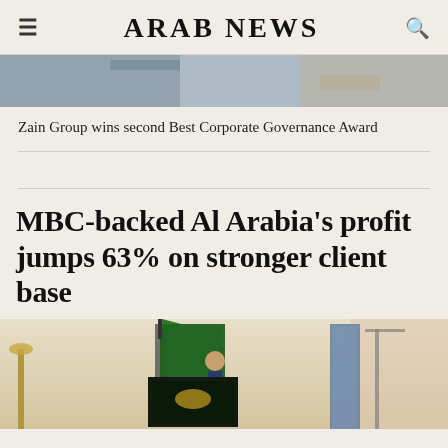ARAB NEWS
[Figure (photo): Partial top of a news article image, cropped]
Zain Group wins second Best Corporate Governance Award
MBC-backed Al Arabia’s profit jumps 63% on stronger client base
[Figure (photo): Photo of a ceremony with Saudi flags, a screen showing a Saudi emblem, and a skyscraper in the background]